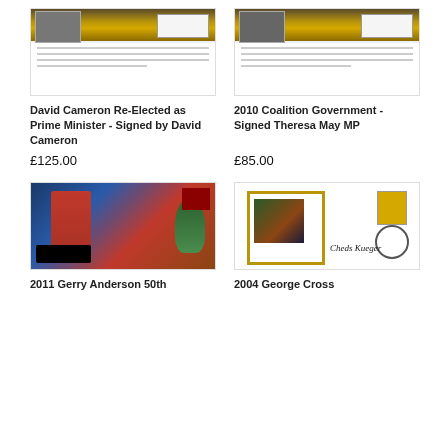[Figure (photo): Signed first day cover featuring David Cameron, with portrait image and certificate text]
David Cameron Re-Elected as Prime Minister - Signed by David Cameron
£125.00
[Figure (photo): Signed first day cover for 2010 Coalition Government, featuring Theresa May MP]
2010 Coalition Government - Signed Theresa May MP
£85.00
[Figure (photo): 2011 Gerry Anderson 50th Anniversary Supermarionation signed first day cover with colorful artwork]
2011 Gerry Anderson 50th
[Figure (photo): 2004 George Cross signed first day cover with portrait and signature]
2004 George Cross